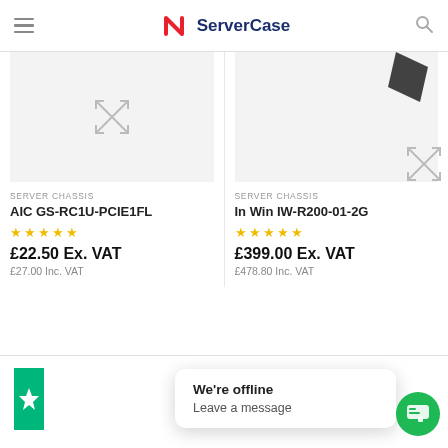ServerCase - hamburger menu, logo, search icon
[Figure (screenshot): ServerCase website product listing page showing two server chassis products]
SERVER CHASSIS
AIC GS-RC1U-PCIE1FL
£22.50 Ex. VAT
£27.00 Inc. VAT
SERVER CHASSIS
In Win IW-R200-01-2G
£399.00 Ex. VAT
£478.80 Inc. VAT
Excellent
We're offline
Leave a message